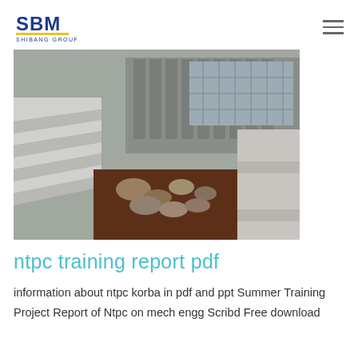SBM SHIBANG GROUP logo and navigation
[Figure (photo): Construction site photo showing concrete stepped structures with rocks and debris in a pit, with industrial buildings in the background]
ntpc training report pdf
information about ntpc korba in pdf and ppt Summer Training Project Report of Ntpc on mech engg Scribd Free download